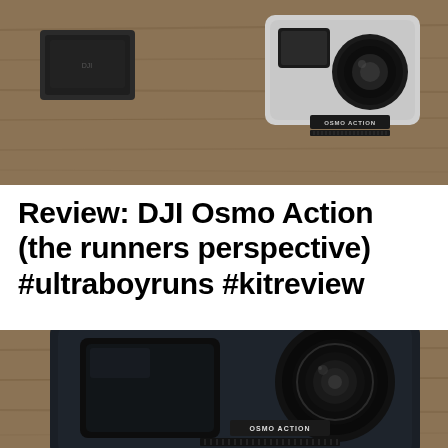[Figure (photo): DJI Osmo Action camera and battery on a wooden surface, photographed from above. Camera shows front lens and small front display screen.]
Review: DJI Osmo Action (the runners perspective) #ultraboyruns #kitreview
[Figure (photo): Close-up front view of DJI Osmo Action camera showing the front touchscreen display on the left and the large circular lens on the right, with 'OSMO ACTION' branding and speaker grille visible at the bottom, placed on a wooden surface.]